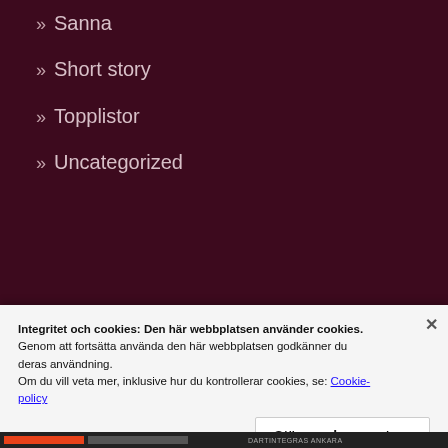» Sanna
» Short story
» Topplistor
» Uncategorized
[Figure (other): Search input box with placeholder text 'Sök ...' and a magnifying glass icon]
Integritet och cookies: Den här webbplatsen använder cookies. Genom att fortsätta använda den här webbplatsen godkänner du deras användning. Om du vill veta mer, inklusive hur du kontrollerar cookies, se: Cookie-policy
Stäng och acceptera